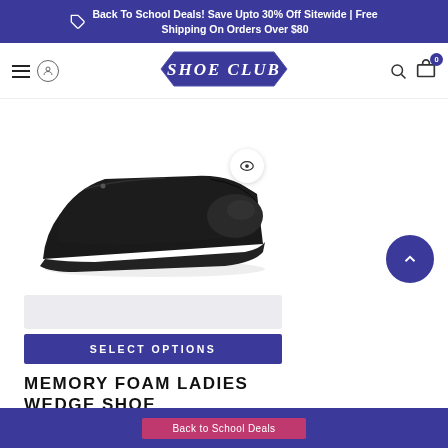Back To School Deals! Save Upto 30% Off Sitewide | Free Shipping On Orders Over $80
[Figure (logo): Shoe Club logo in blue hexagon/shield shape with text SHOE CLUB]
[Figure (photo): Black ladies wedge shoe on white background]
SELECT OPTIONS
MEMORY FOAM LADIES WEDGE SHOE
Back to School Deals